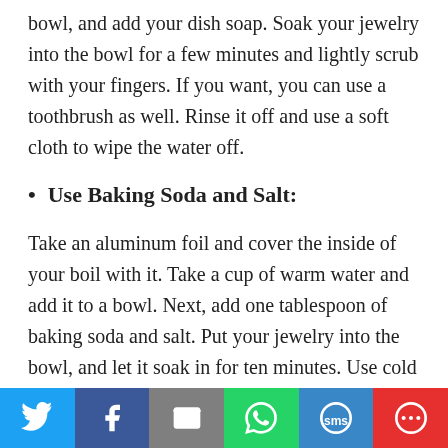bowl, and add your dish soap. Soak your jewelry into the bowl for a few minutes and lightly scrub with your fingers. If you want, you can use a toothbrush as well. Rinse it off and use a soft cloth to wipe the water off.
Use Baking Soda and Salt:
Take an aluminum foil and cover the inside of your boil with it. Take a cup of warm water and add it to a bowl. Next, add one tablespoon of baking soda and salt. Put your jewelry into the bowl, and let it soak in for ten minutes. Use cold water to rinse it off and let the jewelry air dry.
Social share buttons: Twitter, Facebook, Email, WhatsApp, SMS, More